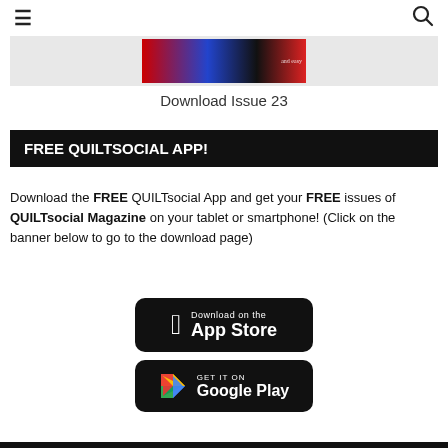≡  🔍
[Figure (photo): Partial magazine cover strip in a gray background bar, showing colorful cover image]
Download Issue 23
FREE QUILTSOCIAL APP!
Download the FREE QUILTsocial App and get your FREE issues of QUILTsocial Magazine on your tablet or smartphone! (Click on the banner below to go to the download page)
[Figure (logo): Download on the App Store button (black rounded rectangle with Apple logo)]
[Figure (logo): GET IT ON Google Play button (black rounded rectangle with Play Store triangle logo)]